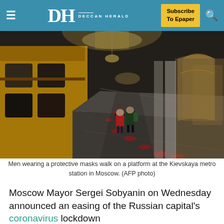DH DECCAN HERALD | Subscribe To Epaper
[Figure (photo): Men wearing protective masks walk on a platform at the Kievskaya metro station in Moscow. A yellow train is on the left side, ornate arches and chandeliers visible. Red social-distancing markers on the floor.]
Men wearing a protective masks walk on a platform at the Kievskaya metro station in Moscow. (AFP photo)
Moscow Mayor Sergei Sobyanin on Wednesday announced an easing of the Russian capital's coronavirus lockdown